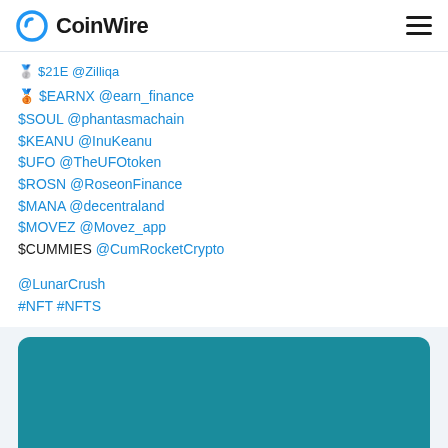CoinWire
🥉 $EARNX @earn_finance
$SOUL @phantasmachain
$KEANU @InuKeanu
$UFO @TheUFOtoken
$ROSN @RoseonFinance
$MANA @decentraland
$MOVEZ @Movez_app
$CUMMIES @CumRocketCrypto
@LunarCrush
#NFT #NFTS
[Figure (other): Teal/dark cyan rounded rectangle card image (partially visible)]